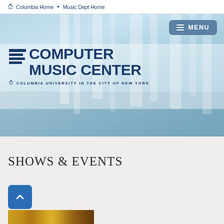Columbia Home • Music Dept Home
[Figure (screenshot): Hero banner with abstract hanging panels background in light blue tones, showing Computer Music Center logo and Columbia University branding with a MENU button]
COMPUTER MUSIC CENTER
COLUMBIA UNIVERSITY IN THE CITY OF NEW YORK
SHOWS & EVENTS
[Figure (photo): Bottom strip showing a colorful image partially visible at the bottom of the page]